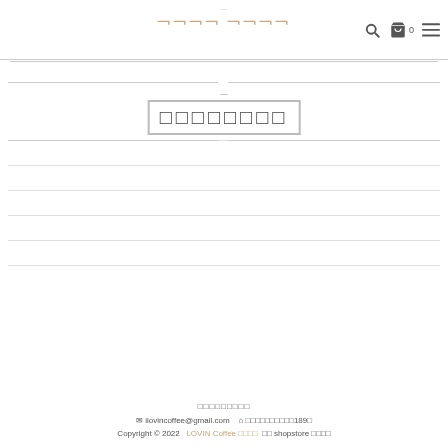LOVIN Coffee 로빈커피 (nav bar with search, cart, menu icons)
장바구니 비었습니다
|  |
|  |
|  |
|  |
|  |
로빈커피 LOVIN Coffee
✉ ilovincoffee@gmail.com  🏠 경기도안양시동안구비산동1890
Copyright © 2022  LOVIN Coffee 로빈커피  는 shopstore 제공합니다